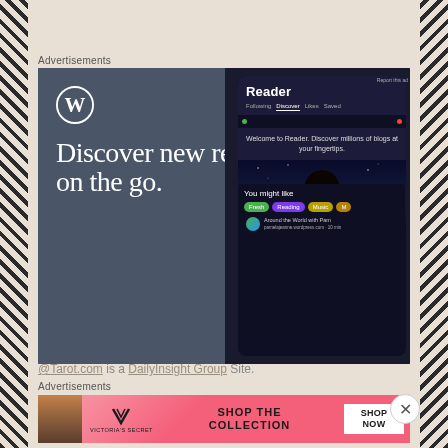Advertisements
[Figure (screenshot): WordPress app advertisement showing 'Discover new reads on the go.' with WordPress logo, GET THE APP call to action, and a phone mockup showing the Reader interface with 'You might like' popup, blog topics (Fresh, Reading, Music), and 'Around the World with Pam' blog entry.]
@Tarot.com is a DailyInsight Group Site.
Advertisements
[Figure (screenshot): Victoria's Secret advertisement showing a woman with curly hair, the Victoria's Secret logo, 'SHOP THE COLLECTION' text, and a 'SHOP NOW' button on a pink background.]